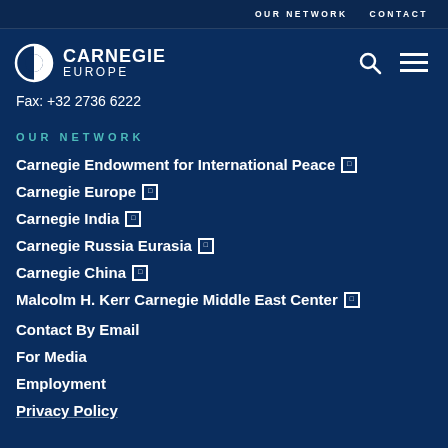OUR NETWORK   CONTACT
[Figure (logo): Carnegie Europe logo with half-circle icon and bold text CARNEGIE EUROPE]
Fax: +32 2736 6222
OUR NETWORK
Carnegie Endowment for International Peace [external link]
Carnegie Europe [external link]
Carnegie India [external link]
Carnegie Russia Eurasia [external link]
Carnegie China [external link]
Malcolm H. Kerr Carnegie Middle East Center [external link]
Contact By Email
For Media
Employment
Privacy Policy